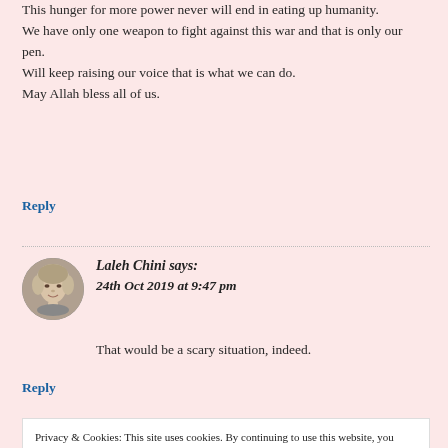This hunger for more power never will end in eating up humanity. We have only one weapon to fight against this war and that is only our pen.
Will keep raising our voice that is what we can do.
May Allah bless all of us.
Reply
Laleh Chini says:
24th Oct 2019 at 9:47 pm
That would be a scary situation, indeed.
Reply
Privacy & Cookies: This site uses cookies. By continuing to use this website, you agree to their use.
To find out more, including how to control cookies, see here: Cookie Policy